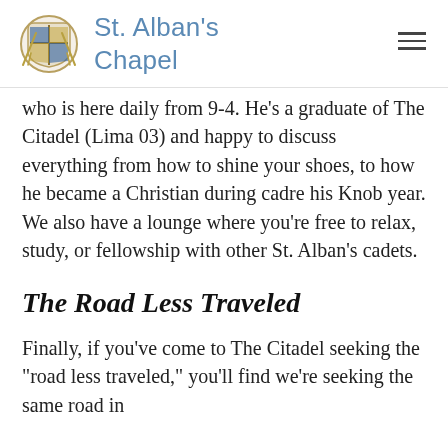St. Alban's Chapel
who is here daily from 9-4. He’s a graduate of The Citadel (Lima 03) and happy to discuss everything from how to shine your shoes, to how he became a Christian during cadre his Knob year. We also have a lounge where you’re free to relax, study, or fellowship with other St. Alban’s cadets.
The Road Less Traveled
Finally, if you’ve come to The Citadel seeking the “road less traveled,” you’ll find we’re seeking the same road in